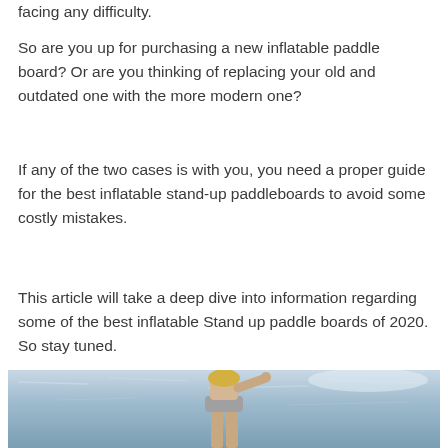facing any difficulty.
So are you up for purchasing a new inflatable paddle board? Or are you thinking of replacing your old and outdated one with the more modern one?
If any of the two cases is with you, you need a proper guide for the best inflatable stand-up paddleboards to avoid some costly mistakes.
This article will take a deep dive into information regarding some of the best inflatable Stand up paddle boards of 2020. So stay tuned.
[Figure (photo): A person standing on a paddleboard on water, viewed from below the waist, with water and sky in the background.]